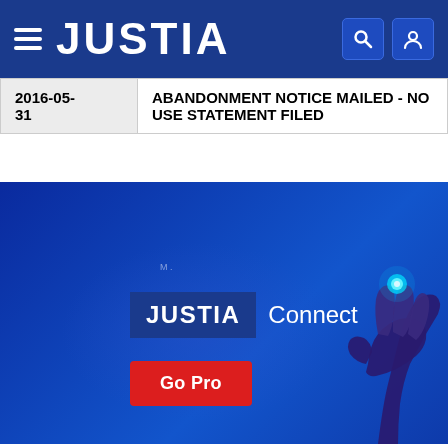JUSTIA
| Date | Event |
| --- | --- |
| 2016-05-31 | ABANDONMENT NOTICE MAILED - NO USE STATEMENT FILED |
[Figure (screenshot): Justia Connect promotional banner with 'Go Pro' button and hand illustration on blue background]